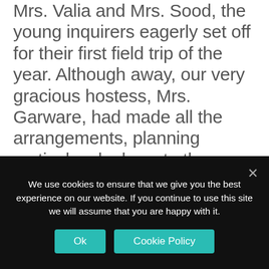Mrs. Valia and Mrs. Sood, the young inquirers eagerly set off for their first field trip of the year. Although away, our very gracious hostess, Mrs. Garware, had made all the arrangements, planning meticulously down to the minutest details, and entrusted our visit to the able hands of the farm manager, Mr. Sardesai. No stranger to our annual excursion to the farm, Mr. Sardesai knew exactly what we were seeking and efficiently led our expedition around the vast property. The children were fascinated to observe how plants contributed towards the welfare of farm animals such as the pregnant cow and her year old calf. They watched a man using complex equipment
We use cookies to ensure that we give you the best experience on our website. If you continue to use this site we will assume that you are happy with it.